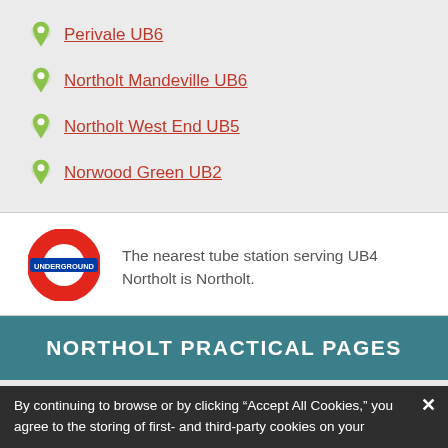Perivale UB6
Northolt Mandeville UB6
Northolt West End UB5
Norwood Green UB2
[Figure (logo): London Underground roundel logo]
The nearest tube station serving UB4 Northolt is Northolt.
NORTHOLT PRACTICAL PAGES
By continuing to browse or by clicking “Accept All Cookies,” you agree to the storing of first- and third-party cookies on your